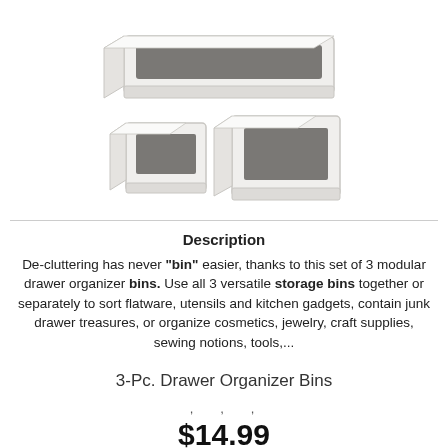[Figure (photo): Three white modular drawer organizer bins of different sizes arranged together — a large wide rectangular tray on top, and two smaller square/rectangular bins below]
Description
De-cluttering has never "bin" easier, thanks to this set of 3 modular drawer organizer bins. Use all 3 versatile storage bins together or separately to sort flatware, utensils and kitchen gadgets, contain junk drawer treasures, or organize cosmetics, jewelry, craft supplies, sewing notions, tools,...
3-Pc. Drawer Organizer Bins
, , ,
$14.99